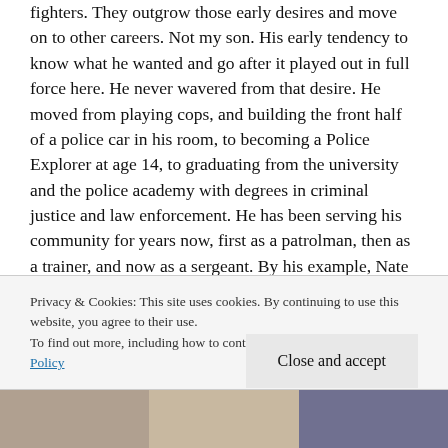fighters. They outgrow those early desires and move on to other careers. Not my son. His early tendency to know what he wanted and go after it played out in full force here. He never wavered from that desire. He moved from playing cops, and building the front half of a police car in his room, to becoming a Police Explorer at age 14, to graduating from the university and the police academy with degrees in criminal justice and law enforcement. He has been serving his community for years now, first as a patrolman, then as a trainer, and now as a sergeant. By his example, Nate has taught me about determination, about following your path and your heart, and about
Privacy & Cookies: This site uses cookies. By continuing to use this website, you agree to their use.
To find out more, including how to control cookies, see here: Cookie Policy
Close and accept
[Figure (photo): A strip of photos at the bottom of the page, partially visible, showing people.]